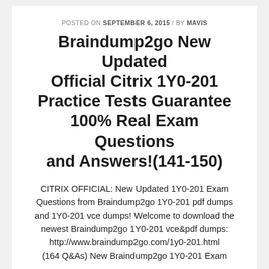POSTED ON SEPTEMBER 6, 2015 / BY MAVIS
Braindump2go New Updated Official Citrix 1Y0-201 Practice Tests Guarantee 100% Real Exam Questions and Answers!(141-150)
CITRIX OFFICIAL: New Updated 1Y0-201 Exam Questions from Braindump2go 1Y0-201 pdf dumps and 1Y0-201 vce dumps! Welcome to download the newest Braindump2go 1Y0-201 vce&pdf dumps: http://www.braindump2go.com/1y0-201.html (164 Q&As) New Braindump2go 1Y0-201 Exam Questions Updated Today!